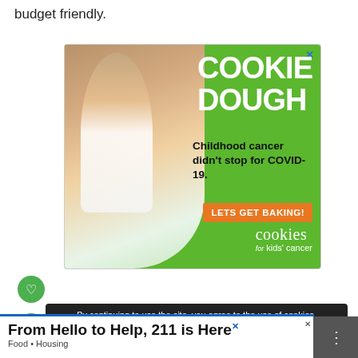budget friendly.
[Figure (photo): Advertisement for Cookies for Kids' Cancer cookie dough fundraiser. Green background with a smiling girl holding a jar of money. Text reads: COOKIE DOUGH, Childhood cancer didn't stop for COVID-19. LETS GET BAKING! cookies for kids' cancer. Close button (x) in top right.]
[Figure (infographic): Cookie consent notification bar on dark background. Text: By continuing to use the site, you agree to the use of cookies. more information. ACCEPT button.]
[Figure (infographic): Bottom banner advertisement: From Hello to Help, 211 is Here. Food • Housing. With X close button and dark right panel with bars icon.]